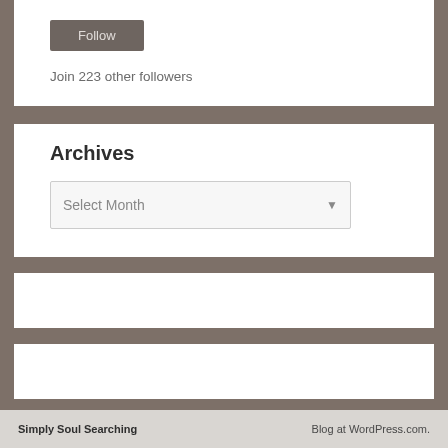Follow
Join 223 other followers
Archives
Select Month
Simply Soul Searching    Blog at WordPress.com.